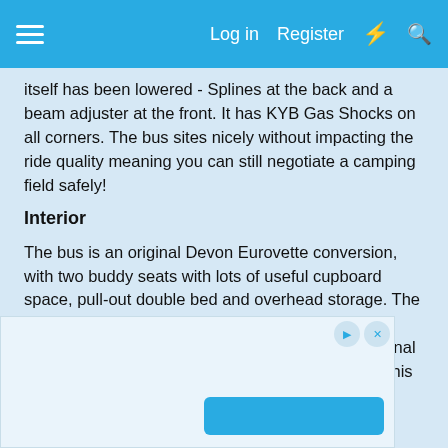Log in  Register
itself has been lowered - Splines at the back and a beam adjuster at the front. It has KYB Gas Shocks on all corners. The bus sites nicely without impacting the ride quality meaning you can still negotiate a camping field safely!
Interior
The bus is an original Devon Eurovette conversion, with two buddy seats with lots of useful cupboard space, pull-out double bed and overhead storage. The roof is a Danbury pop-top with bunk space. The interior matches the exterior – it is honest and original and full of character. There is not a fitted cooker - this was not a feature of this conversion.
[Figure (screenshot): Advertisement banner area with play and close icons and a blue button]